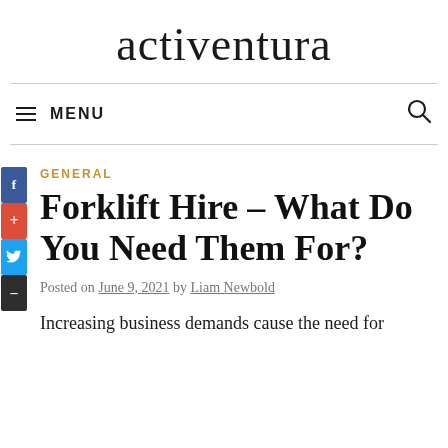activentura
≡ MENU
GENERAL
Forklift Hire – What Do You Need Them For?
Posted on June 9, 2021 by Liam Newbold
Increasing business demands cause the need for